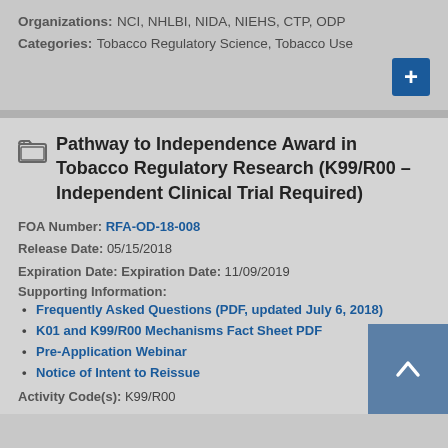Organizations: NCI, NHLBI, NIDA, NIEHS, CTP, ODP
Categories: Tobacco Regulatory Science, Tobacco Use
Pathway to Independence Award in Tobacco Regulatory Research (K99/R00 – Independent Clinical Trial Required)
FOA Number: RFA-OD-18-008
Release Date: 05/15/2018
Expiration Date: Expiration Date: 11/09/2019
Supporting Information:
Frequently Asked Questions (PDF, updated July 6, 2018)
K01 and K99/R00 Mechanisms Fact Sheet PDF
Pre-Application Webinar
Notice of Intent to Reissue
Activity Code(s): K99/R00